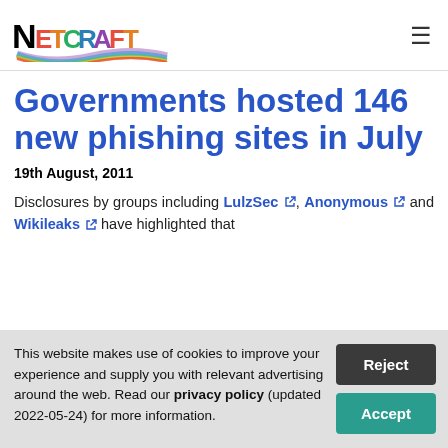Netcraft
Governments hosted 146 new phishing sites in July
19th August, 2011
Disclosures by groups including LulzSec, Anonymous and Wikileaks have highlighted that
This website makes use of cookies to improve your experience and supply you with relevant advertising around the web. Read our privacy policy (updated 2022-05-24) for more information.